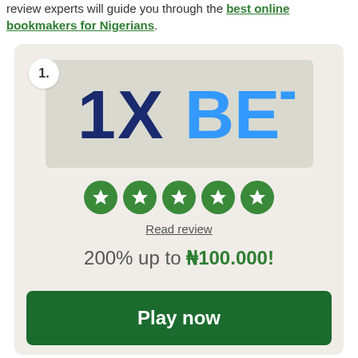review experts will guide you through the best online bookmakers for Nigerians.
[Figure (logo): 1XBET logo in dark blue and blue text on a light gray background]
[Figure (infographic): Five green circle star rating icons in a row]
Read review
200% up to ₦100.000!
Play now